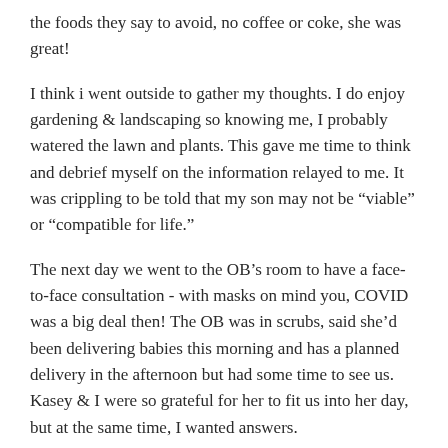the foods they say to avoid, no coffee or coke, she was great!
I think i went outside to gather my thoughts. I do enjoy gardening & landscaping so knowing me, I probably watered the lawn and plants. This gave me time to think and debrief myself on the information relayed to me. It was crippling to be told that my son may not be "viable" or "compatible for life."
The next day we went to the OB's room to have a face-to-face consultation - with masks on mind you, COVID was a big deal then! The OB was in scrubs, said she'd been delivering babies this morning and has a planned delivery in the afternoon but had some time to see us. Kasey & I were so grateful for her to fit us into her day, but at the same time, I wanted answers.
We spent maybe 45 minutes in her room, going through scenarios and situations. No matter the outcome, it wasn't going to be 'normal.' Our son was measuring two weeks behind in growth,